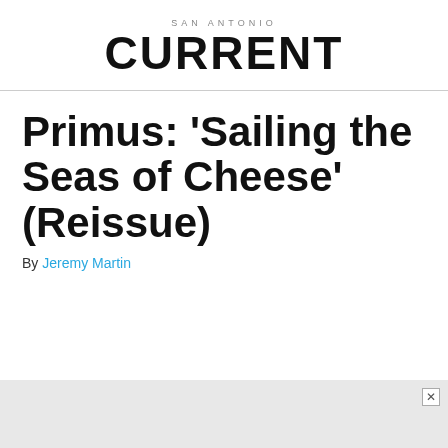SAN ANTONIO CURRENT
Primus: 'Sailing the Seas of Cheese' (Reissue)
By Jeremy Martin